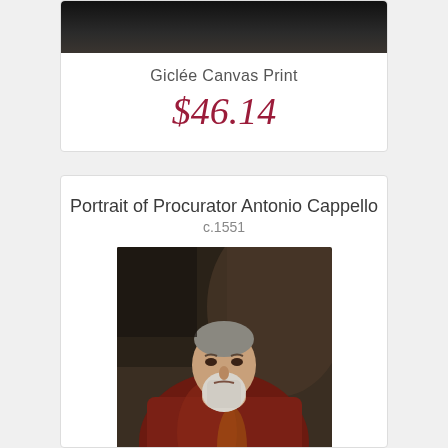[Figure (photo): Top portion of a dark painting, mostly black background, upper part of a figure barely visible]
Giclée Canvas Print
$46.14
Portrait of Procurator Antonio Cappello
c.1551
[Figure (photo): Portrait painting of an elderly bearded man in dark red robes, c.1551, by Tintoretto or similar Renaissance master, against a dark brown background]